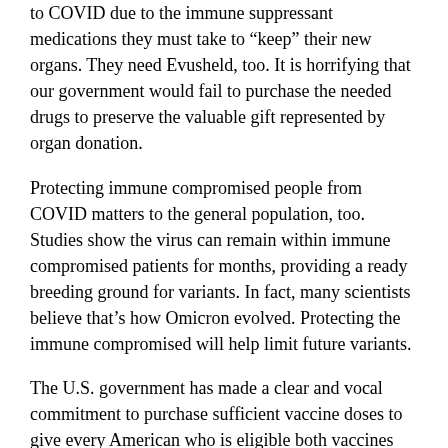to COVID due to the immune suppressant medications they must take to “keep” their new organs. They need Evusheld, too. It is horrifying that our government would fail to purchase the needed drugs to preserve the valuable gift represented by organ donation.
Protecting immune compromised people from COVID matters to the general population, too. Studies show the virus can remain within immune compromised patients for months, providing a ready breeding ground for variants. In fact, many scientists believe that’s how Omicron evolved. Protecting the immune compromised will help limit future variants.
The U.S. government has made a clear and vocal commitment to purchase sufficient vaccine doses to give every American who is eligible both vaccines and boosters. And yet it has failed to make a similar commitment to protect those who are most vulnerable to the virus. Providing COVID protection to the immune compromised must be a vital component of any long-term pandemic mitigation strategy.
The federal government must buy enough Evusheld for everyone who needs it.